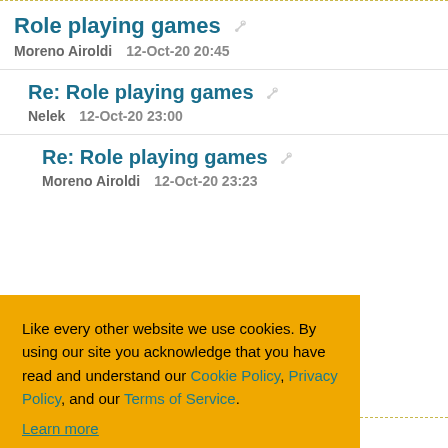Role playing games
Moreno Airoldi    12-Oct-20 20:45
Re: Role playing games
Nelek    12-Oct-20 23:00
Re: Role playing games
Moreno Airoldi    12-Oct-20 23:23
Like every other website we use cookies. By using our site you acknowledge that you have read and understand our Cookie Policy, Privacy Policy, and our Terms of Service. Learn more
Ask me later | Decline | Allow cookies